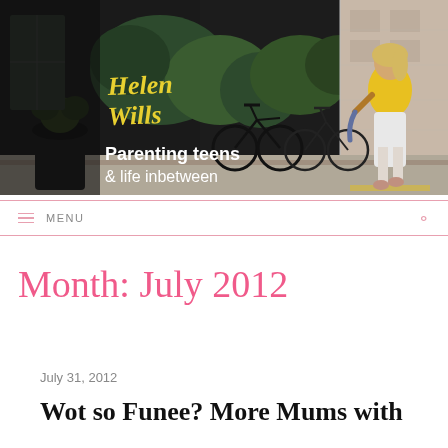[Figure (photo): Blog header banner for Helen Wills blog. Dark background showing a street scene with bicycles and a woman in a yellow top and white pants walking. Yellow handwritten-style logo 'Helen Wills' in top left, white bold text 'Parenting teens & life inbetween' below logo.]
≡ MENU
Month: July 2012
July 31, 2012
Wot so Funee? More Mums with